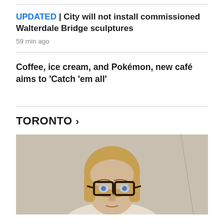UPDATED | City will not install commissioned Walterdale Bridge sculptures
59 min ago
Coffee, ice cream, and Pokémon, new café aims to 'Catch 'em all'
TORONTO >
[Figure (photo): A woman with blonde hair and large dark-rimmed glasses, photographed from the shoulders up, facing the camera.]